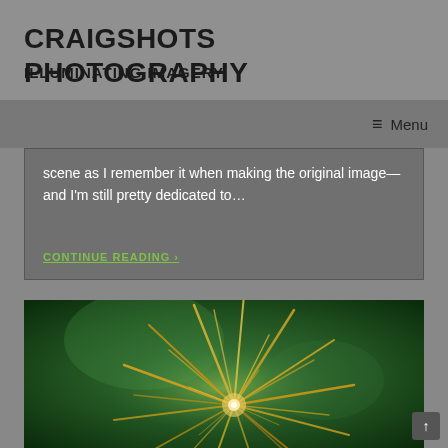CRAIGSHOTS PHOTOGRAPHY
ILLUMINATING IMAGERY.
≡ Menu
scene as I remember it when making the original image—and I'm still pretty dedicated to…
CONTINUE READING ›
[Figure (photo): Close-up photograph of a firework burst with golden/yellow streaks radiating outward against a dark green background]